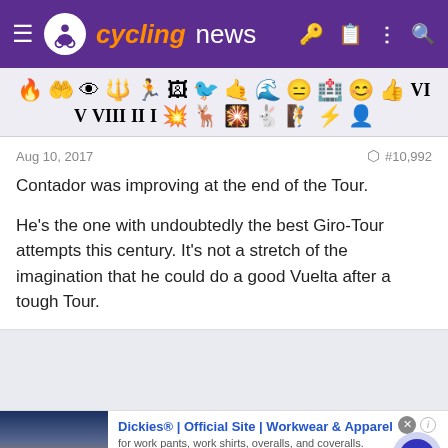cyclingnews
[Figure (other): Row of emoji/reaction icons used for forum post reactions]
Aug 10, 2017
#10,992
Contador was improving at the end of the Tour.

He's the one with undoubtedly the best Giro-Tour attempts this century. It's not a stretch of the imagination that he could do a good Vuelta after a tough Tour.
[Figure (other): Advertisement: Dickies® | Official Site | Workwear & Apparel. for work pants, work shirts, overalls, and coveralls. www.dickies.com]